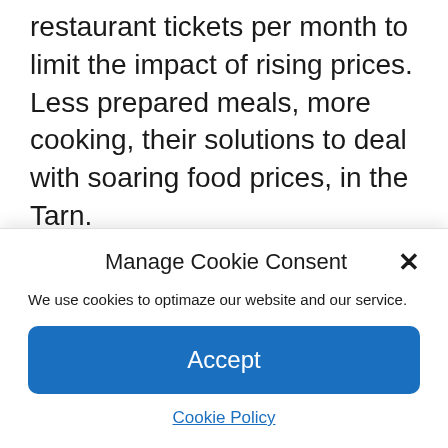restaurant tickets per month to limit the impact of rising prices. Less prepared meals, more cooking, their solutions to deal with soaring food prices, in the Tarn.
Their mum doesn't work... even if she has a lot to do at home, their dad is a mechanic, the family's income is limited to €1,700 per month, including aid from the Caf. However, Sofia and her big sister have never eaten so
Manage Cookie Consent
We use cookies to optimaze our website and our service.
Accept
Cookie Policy